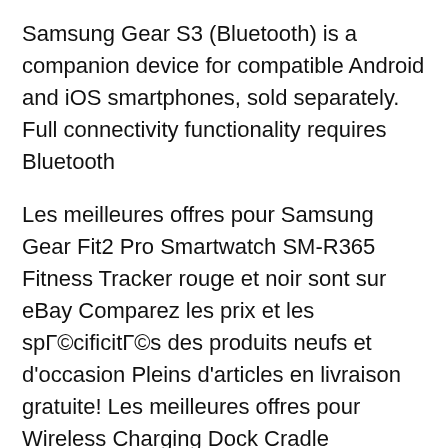Samsung Gear S3 (Bluetooth) is a companion device for compatible Android and iOS smartphones, sold separately. Full connectivity functionality requires Bluetooth
Les meilleures offres pour Samsung Gear Fit2 Pro Smartwatch SM-R365 Fitness Tracker rouge et noir sont sur eBay Comparez les prix et les spécificités des produits neufs et d'occasion Pleins d'articles en livraison gratuite! Les meilleures offres pour Wireless Charging Dock Cradle Chargeur Pour Samsung Gear S S2 S3 Smartwatch watch sont sur eBay Comparez les prix et les spécificités des produits neufs et d'occasion Pleins d'articles en livraison gratuite!
Samsung Galaxy Gear Smartwatch- Retail